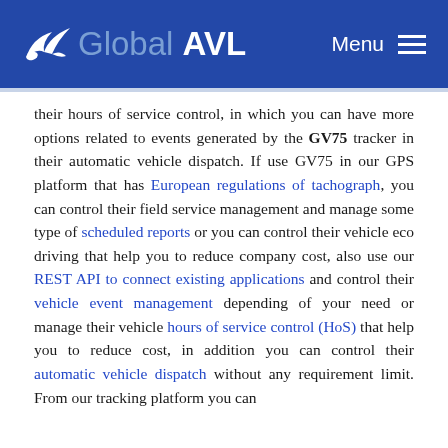Global AVL — Menu
their hours of service control, in which you can have more options related to events generated by the GV75 tracker in their automatic vehicle dispatch. If use GV75 in our GPS platform that has European regulations of tachograph, you can control their field service management and manage some type of scheduled reports or you can control their vehicle eco driving that help you to reduce company cost, also use our REST API to connect existing applications and control their vehicle event management depending of your need or manage their vehicle hours of service control (HoS) that help you to reduce cost, in addition you can control their automatic vehicle dispatch without any requirement limit. From our tracking platform you can